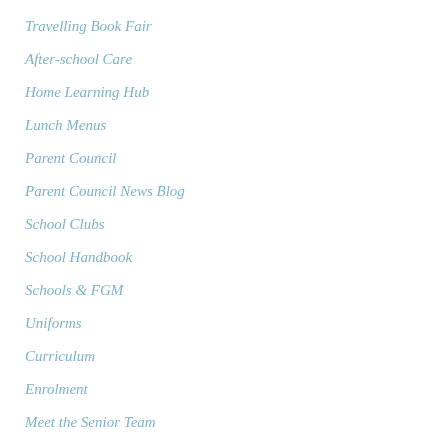Travelling Book Fair
After-school Care
Home Learning Hub
Lunch Menus
Parent Council
Parent Council News Blog
School Clubs
School Handbook
Schools & FGM
Uniforms
Curriculum
Enrolment
Meet the Senior Team
Primary 1 Transition 2021-22
Welcome
International Education